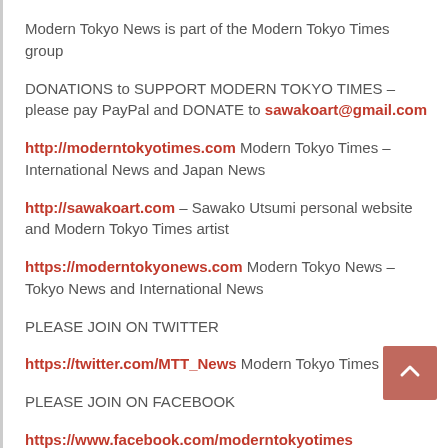Modern Tokyo News is part of the Modern Tokyo Times group
DONATIONS to SUPPORT MODERN TOKYO TIMES – please pay PayPal and DONATE to sawakoart@gmail.com
http://moderntokyotimes.com Modern Tokyo Times – International News and Japan News
http://sawakoart.com – Sawako Utsumi personal website and Modern Tokyo Times artist
https://moderntokyonews.com Modern Tokyo News – Tokyo News and International News
PLEASE JOIN ON TWITTER
https://twitter.com/MTT_News Modern Tokyo Times
PLEASE JOIN ON FACEBOOK
https://www.facebook.com/moderntokyotimes